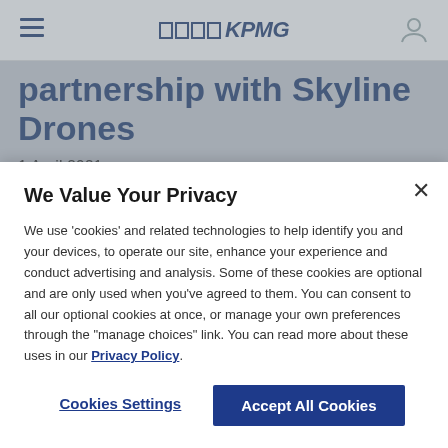KPMG
partnership with Skyline Drones
1 April 2021
KPMG in Belgium announced today that...
We Value Your Privacy
We use 'cookies' and related technologies to help identify you and your devices, to operate our site, enhance your experience and conduct advertising and analysis. Some of these cookies are optional and are only used when you've agreed to them. You can consent to all our optional cookies at once, or manage your own preferences through the "manage choices" link. You can read more about these uses in our Privacy Policy.
Cookies Settings
Accept All Cookies